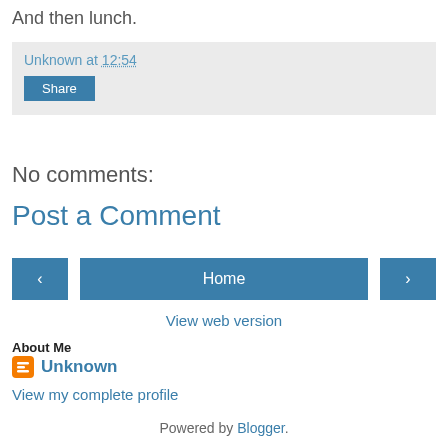And then lunch.
Unknown at 12:54
Share
No comments:
Post a Comment
‹  Home  ›
View web version
About Me
Unknown
View my complete profile
Powered by Blogger.